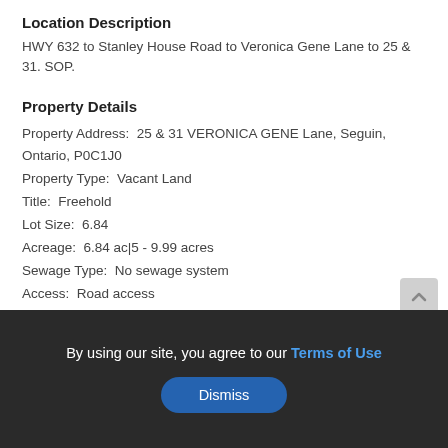Location Description
HWY 632 to Stanley House Road to Veronica Gene Lane to 25 & 31. SOP.
Property Details
Property Address:  25 & 31 VERONICA GENE Lane, Seguin, Ontario, P0C1J0
Property Type:  Vacant Land
Title:  Freehold
Lot Size:  6.84
Acreage:  6.84 ac|5 - 9.99 acres
Sewage Type:  No sewage system
Access:  Road access
Waterfront Type:  Waterfront
By using our site, you agree to our Terms of Use
Dismiss